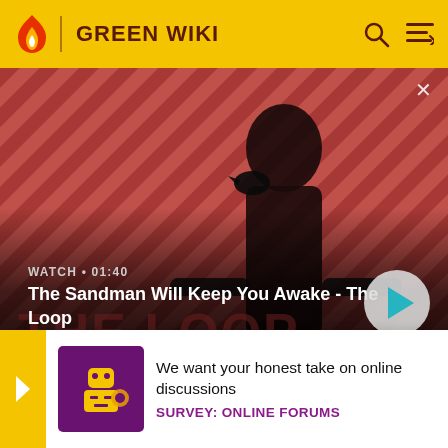GREEN WIKI
[Figure (screenshot): Promotional banner for 'The Sandman Will Keep You Awake - The Loop' video. Shows a dark figure with a crow on shoulder against a red diagonal striped background. WATCH • 01:40 label shown, with a play button on the right.]
women (Miller & Spoolman, 2009, p. 133). Such plans and strategies can be converted into policies to ensure sustainabi... developed... population...
[Figure (illustration): Survey promo banner: purple/gold icon with robot figure, text 'We want your honest take on online discussions' and label 'SURVEY: ONLINE FORUMS']